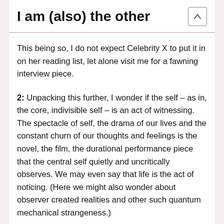I am (also) the other
This being so, I do not expect Celebrity X to put it in on her reading list, let alone visit me for a fawning interview piece.
2: Unpacking this further, I wonder if the self – as in, the core, indivisible self – is an act of witnessing. The spectacle of self, the drama of our lives and the constant churn of our thoughts and feelings is the novel, the film, the durational performance piece that the central self quietly and uncritically observes. We may even say that life is the act of noticing. (Here we might also wonder about observer created realities and other such quantum mechanical strangeness.)
3: You can check out and/or buy both of my recently published books by clicking on the following titles: The